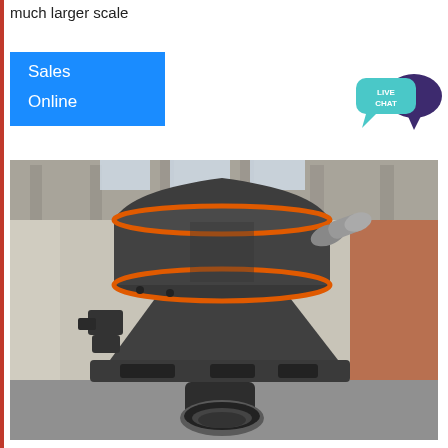much larger scale
Sales
Online
[Figure (illustration): Live chat button icon with speech bubble and text LIVE CHAT in teal/dark purple colors]
[Figure (photo): Large industrial cone crusher machine photographed inside a warehouse/factory setting. The machine is dark gray with orange accent rings, mounted on a platform, photographed from a low angle looking up.]